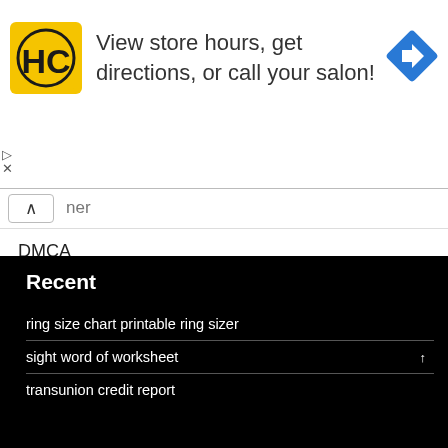[Figure (screenshot): Advertisement banner for a hair care salon showing HC logo in yellow square, text 'View store hours, get directions, or call your salon!', and a blue direction arrow icon. Close/skip controls visible at bottom left.]
ner (partially visible, truncated)
DMCA
Privacy Policy
Report Site Issue
Terms of Use
Recent
ring size chart printable ring sizer
sight word of worksheet
transunion credit report